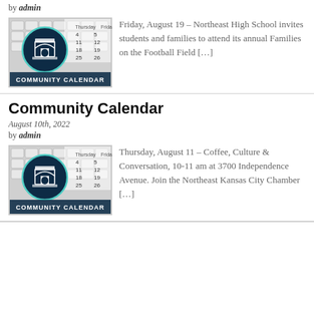by admin
[Figure (illustration): Community Calendar thumbnail image with keyboard background and arch logo]
Friday, August 19 – Northeast High School invites students and families to attend its annual Families on the Football Field […]
Community Calendar
August 10th, 2022
by admin
[Figure (illustration): Community Calendar thumbnail image with keyboard background and arch logo]
Thursday, August 11 – Coffee, Culture & Conversation, 10-11 am at 3700 Independence Avenue. Join the Northeast Kansas City Chamber […]